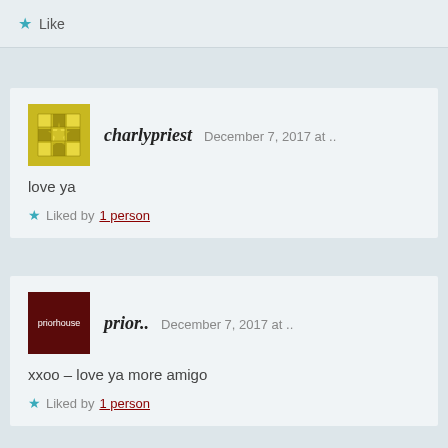★ Like
charlypriest  December 7, 2017 at ..
love ya
★ Liked by 1 person
prior..  December 7, 2017 at ..
xxoo – love ya more amigo
★ Liked by 1 person